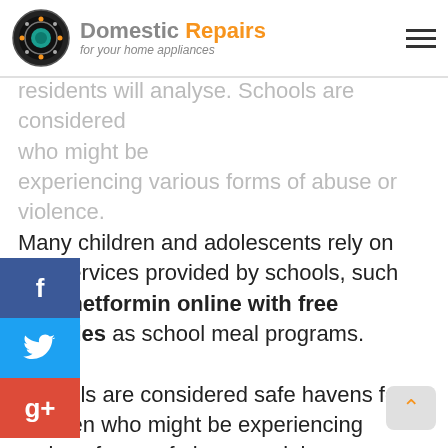Domestic Repairs – for your home appliances
residents will analyse. Schools are considered who might be experiencing various forms of abuse or violence. Many children and adolescents rely on key services provided by schools, such buy metformin online with free samples as school meal programs. Schools are considered safe havens for children who might be experiencing various forms of abuse or violence. Schools play an important role in educating students about disease prevention within their homes and communities. Many children and adolescents rely on key services provided by schools, such as school meal programs. Schools are considered safe havens for experiencing various forms of